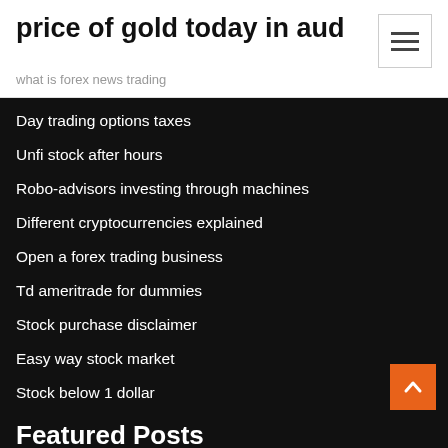price of gold today in aud
what is forex news trading
Day trading options taxes
Unfi stock after hours
Robo-advisors investing through machines
Different cryptocurrencies explained
Open a forex trading business
Td ameritrade for dummies
Stock purchase disclaimer
Easy way stock market
Stock below 1 dollar
Featured Posts